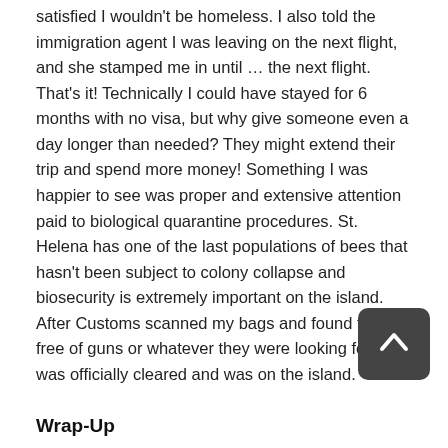satisfied I wouldn't be homeless. I also told the immigration agent I was leaving on the next flight, and she stamped me in until … the next flight. That's it! Technically I could have stayed for 6 months with no visa, but why give someone even a day longer than needed? They might extend their trip and spend more money! Something I was happier to see was proper and extensive attention paid to biological quarantine procedures. St. Helena has one of the last populations of bees that hasn't been subject to colony collapse and biosecurity is extremely important on the island. After Customs scanned my bags and found them free of guns or whatever they were looking for, I was officially cleared and was on the island.
Wrap-Up
Overall, this flight is in a way very usual (be prepared for all of the regular airline hassles) and also very unusual (extensive documentation requirements, multiple meal services and a technical stop). I found it surprisingly comfortable for a regional jet and it felt safely and professionally operated. While it's disappointing that I couldn't book the flight with miles and had to pay cash, it's understandable that it's so